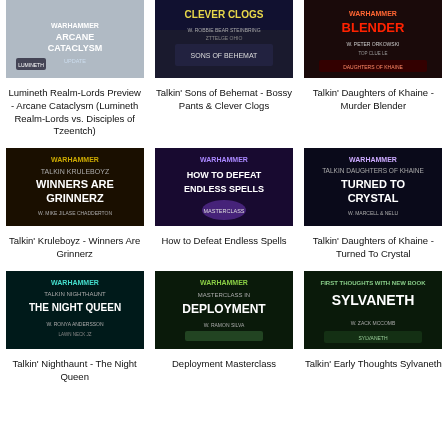[Figure (illustration): Thumbnail image for Lumineth Realm-Lords Preview - Arcane Cataclysm video]
Lumineth Realm-Lords Preview - Arcane Cataclysm (Lumineth Realm-Lords vs. Disciples of Tzeentch)
[Figure (illustration): Thumbnail image for Talkin' Sons of Behemat - Bossy Pants & Clever Clogs video]
Talkin' Sons of Behemat - Bossy Pants & Clever Clogs
[Figure (illustration): Thumbnail image for Talkin' Daughters of Khaine - Murder Blender video]
Talkin' Daughters of Khaine - Murder Blender
[Figure (illustration): Thumbnail image for Talkin' Kruleboyz - Winners Are Grinnerz video]
Talkin' Kruleboyz - Winners Are Grinnerz
[Figure (illustration): Thumbnail image for How to Defeat Endless Spells video]
How to Defeat Endless Spells
[Figure (illustration): Thumbnail image for Talkin' Daughters of Khaine - Turned To Crystal video]
Talkin' Daughters of Khaine - Turned To Crystal
[Figure (illustration): Thumbnail image for Talkin' Nighthaunt - The Night Queen video]
Talkin' Nighthaunt - The Night Queen
[Figure (illustration): Thumbnail image for Deployment Masterclass video]
Deployment Masterclass
[Figure (illustration): Thumbnail image for Talkin' Early Thoughts Sylvaneth video]
Talkin' Early Thoughts Sylvaneth